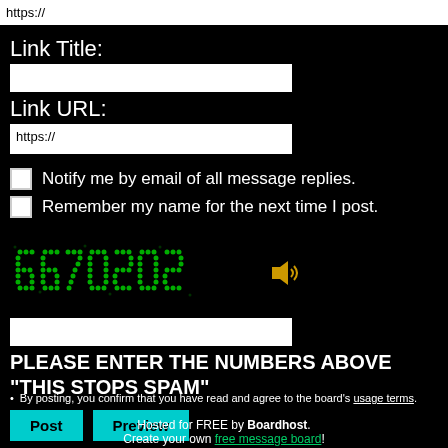https://
Link Title:
Link URL:
https://
Notify me by email of all message replies.
Remember my name for the next time I post.
[Figure (other): CAPTCHA image showing green dot-matrix numbers '6670202' on black background with a speaker/audio icon]
PLEASE ENTER THE NUMBERS ABOVE "THIS STOPS SPAM"
By posting, you confirm that you have read and agree to the board's usage terms.
Post   Preview
Hosted for FREE by Boardhost. Create your own free message board!